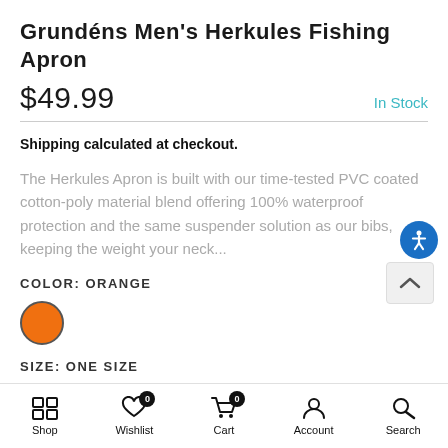Grundéns Men's Herkules Fishing Apron
$49.99   In Stock
Shipping calculated at checkout.
The Herkules Apron is built with our time-tested PVC coated cotton-poly material blend offering 100% waterproof protection and the same suspender solution as our bibs, keeping the weight your neck...
COLOR: ORANGE
[Figure (other): Orange color swatch circle with dark border]
SIZE: ONE SIZE
Shop  Wishlist 0  Cart 0  Account  Search